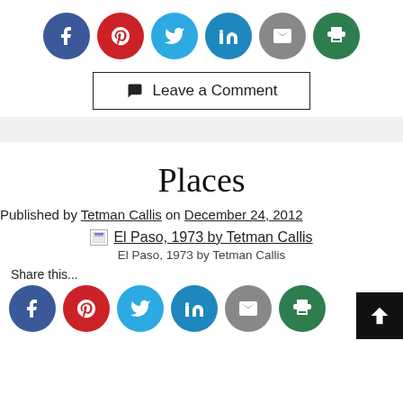[Figure (other): Social share buttons row: Facebook (blue), Pinterest (red), Twitter (cyan), LinkedIn (teal), Email (gray), Print (green) circular icon buttons]
Leave a Comment
[Figure (other): Gray horizontal divider bar]
Places
Published by Tetman Callis on December 24, 2012
El Paso, 1973 by Tetman Callis
El Paso, 1973 by Tetman Callis
Share this...
[Figure (other): Social share buttons row: Facebook, Pinterest, Twitter, LinkedIn, Email, Print circular icon buttons, with back-to-top arrow button]